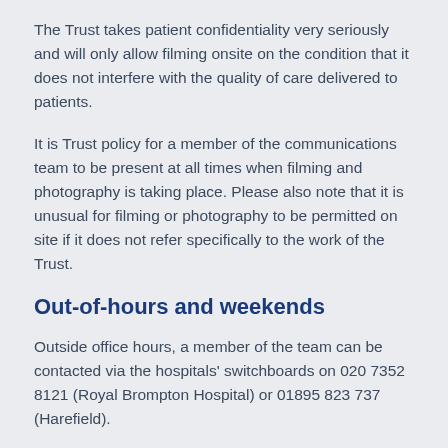The Trust takes patient confidentiality very seriously and will only allow filming onsite on the condition that it does not interfere with the quality of care delivered to patients.
It is Trust policy for a member of the communications team to be present at all times when filming and photography is taking place. Please also note that it is unusual for filming or photography to be permitted on site if it does not refer specifically to the work of the Trust.
Out-of-hours and weekends
Outside office hours, a member of the team can be contacted via the hospitals' switchboards on 020 7352 8121 (Royal Brompton Hospital) or 01895 823 737 (Harefield).